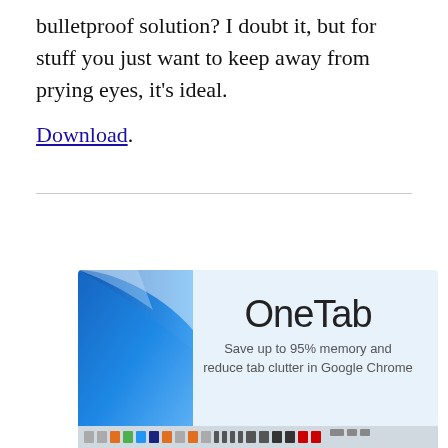bulletproof solution? I doubt it, but for stuff you just want to keep away from prying eyes, it's ideal.
Download.
[Figure (screenshot): Screenshot of the OneTab Chrome extension promotional image. Shows a blue wave graphic on the left, the text 'OneTab' in large thin font, subtitle 'Save up to 95% memory and reduce tab clutter in Google Chrome', and a browser toolbar strip at the bottom.]